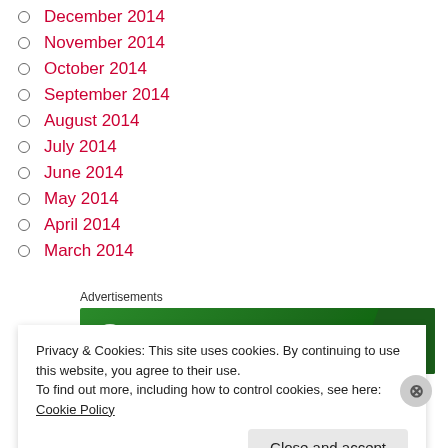December 2014
November 2014
October 2014
September 2014
August 2014
July 2014
June 2014
May 2014
April 2014
March 2014
Advertisements
[Figure (illustration): Jetpack advertisement banner with green background and white Jetpack logo and text]
Privacy & Cookies: This site uses cookies. By continuing to use this website, you agree to their use.
To find out more, including how to control cookies, see here: Cookie Policy
Close and accept